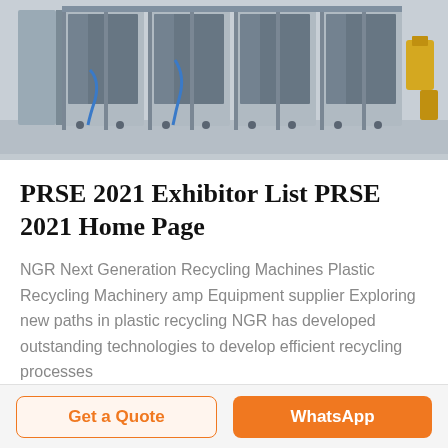[Figure (photo): Industrial plastic recycling machinery with multiple glass-panel enclosures/modules in a factory setting, stainless steel and blue hose details visible]
PRSE 2021 Exhibitor List PRSE 2021 Home Page
NGR Next Generation Recycling Machines Plastic Recycling Machinery amp Equipment supplier Exploring new paths in plastic recycling NGR has developed outstanding technologies to develop efficient recycling processes
Get a Quote
WhatsApp